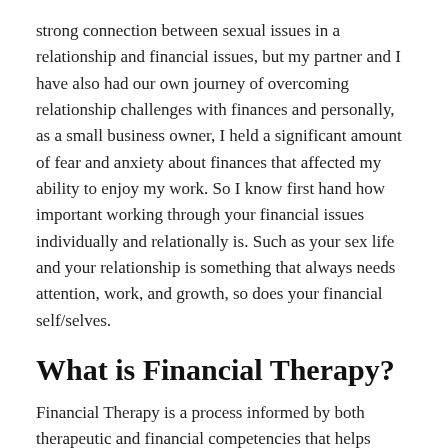strong connection between sexual issues in a relationship and financial issues, but my partner and I have also had our own journey of overcoming relationship challenges with finances and personally, as a small business owner, I held a significant amount of fear and anxiety about finances that affected my ability to enjoy my work. So I know first hand how important working through your financial issues individually and relationally is. Such as your sex life and your relationship is something that always needs attention, work, and growth, so does your financial self/selves.
What is Financial Therapy?
Financial Therapy is a process informed by both therapeutic and financial competencies that helps people think, feel, and behave differently with money to improve overall well-being through evidence based practices and interventions.
Financial therapists are equipped to help people reach their